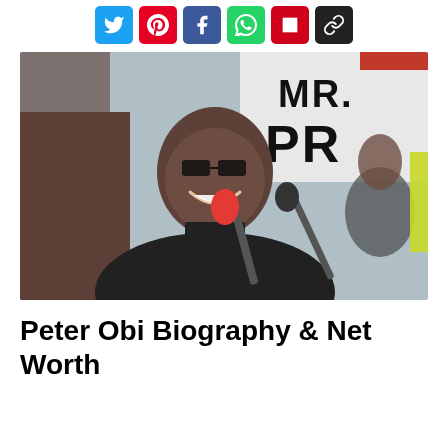[Figure (other): Social media share buttons row: Twitter (blue), Pinterest (red), Facebook (dark blue), WhatsApp (green), Reddit (red), Copy link (black)]
[Figure (photo): Peter Obi smiling at a podium with microphones, wearing a dark outfit, with a banner reading MR. PR in the background at a public event.]
Peter Obi Biography & Net Worth